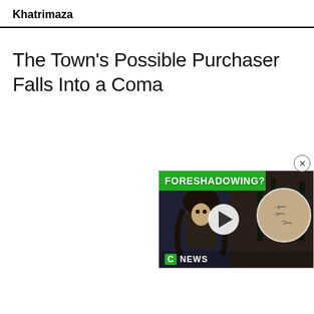Khatrimaza
The Town’s Possible Purchaser Falls Into a Coma
[Figure (screenshot): Embedded video widget showing a dark scene with a long-haired person looking up, a green banner reading 'FORESHADOWING?', a white play button circle, a circular tattoo image inset on the right, and a 'C NEWS' label at the bottom left. A close (X) button appears at the top right of the widget.]